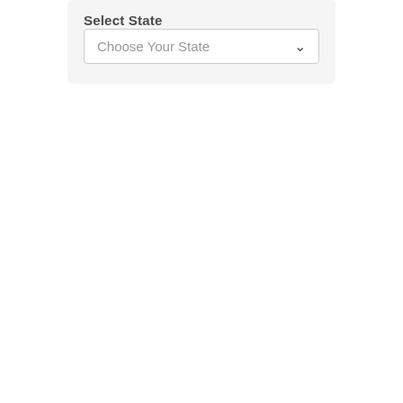Select State
Choose Your State